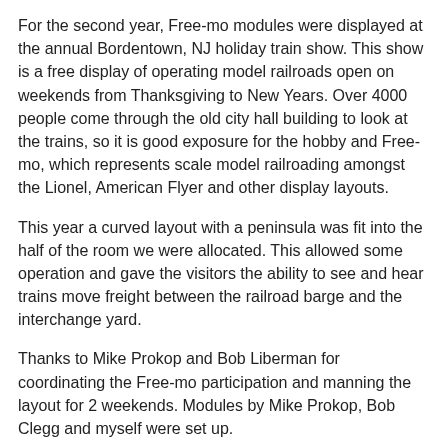For the second year, Free-mo modules were displayed at the annual Bordentown, NJ holiday train show. This show is a free display of operating model railroads open on weekends from Thanksgiving to New Years. Over 4000 people come through the old city hall building to look at the trains, so it is good exposure for the hobby and Free-mo, which represents scale model railroading amongst the Lionel, American Flyer and other display layouts.
This year a curved layout with a peninsula was fit into the half of the room we were allocated. This allowed some operation and gave the visitors the ability to see and hear trains move freight between the railroad barge and the interchange yard.
Thanks to Mike Prokop and Bob Liberman for coordinating the Free-mo participation and manning the layout for 2 weekends. Modules by Mike Prokop, Bob Clegg and myself were set up.
[Figure (photo): Interior photo showing a room with a chandelier and windows, partially visible at bottom of page.]